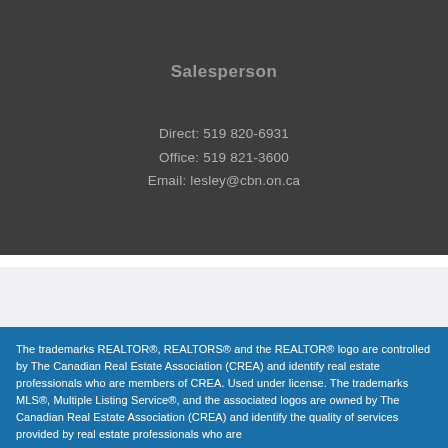Salesperson
Direct: 519 820-6931
Office: 519 821-3600
Email: lesley@cbn.on.ca
The trademarks REALTOR®, REALTORS® and the REALTOR® logo are controlled by The Canadian Real Estate Association (CREA) and identify real estate professionals who are members of CREA. Used under license. The trademarks MLS®, Multiple Listing Service®, and the associated logos are owned by The Canadian Real Estate Association (CREA) and identify the quality of services provided by real estate professionals who are